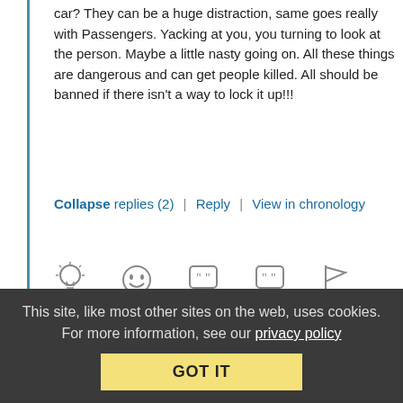car? They can be a huge distraction, same goes really with Passengers. Yacking at you, you turning to look at the person. Maybe a little nasty going on. All these things are dangerous and can get people killed. All should be banned if there isn't a way to lock it up!!!
Collapse replies (2) | Reply | View in chronology
[Figure (infographic): Row of 5 reaction/action icons: lightbulb, laughing face, open quote bubble, filled quote bubble, flag]
[4]
Anonymous Coward   January 24, 2017 at 7:26 am
This site, like most other sites on the web, uses cookies. For more information, see our privacy policy
GOT IT